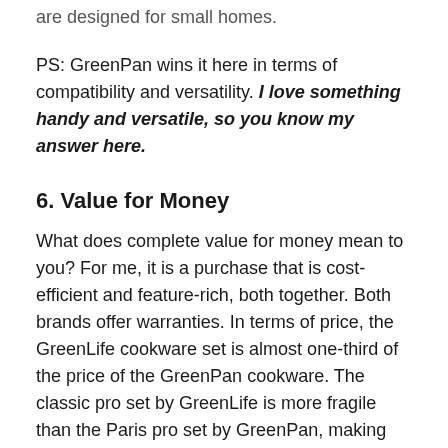are designed for small homes.
PS: GreenPan wins it here in terms of compatibility and versatility. I love something handy and versatile, so you know my answer here.
6. Value for Money
What does complete value for money mean to you? For me, it is a purchase that is cost-efficient and feature-rich, both together. Both brands offer warranties. In terms of price, the GreenLife cookware set is almost one-third of the price of the GreenPan cookware. The classic pro set by GreenLife is more fragile than the Paris pro set by GreenPan, making the former more susceptible to wear and tear than the latter.